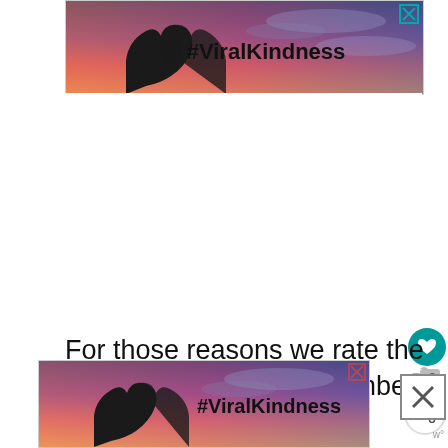[Figure (photo): Advertisement banner showing hands forming a heart shape against a sunset sky, with text '#ViralKindness' and a close/X button in the top-right corner. Top banner ad.]
For those reasons we rate the Walk of Fame as the Number one attraction you MUST visit yourself...
[Figure (photo): Advertisement banner showing hands forming a heart shape against a sunset sky, with text '#ViralKindness' and a close/X button. Bottom banner ad partially visible.]